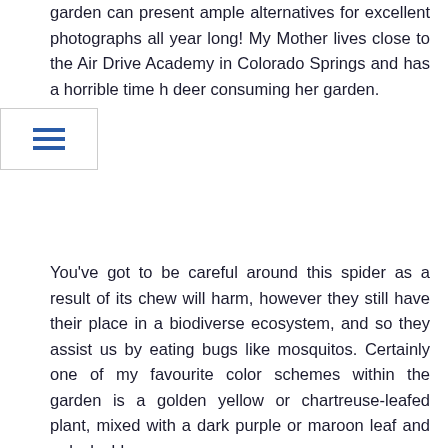garden can present ample alternatives for excellent photographs all year long! My Mother lives close to the Air Drive Academy in Colorado Springs and has a horrible time h deer consuming her garden.
You've got to be careful around this spider as a result of its chew will harm, however they still have their place in a biodiverse ecosystem, and so they assist us by eating bugs like mosquitos. Certainly one of my favourite color schemes within the garden is a golden yellow or chartreuse-leafed plant, mixed with a dark purple or maroon leaf and a dusky blue.
I acquired some new ideas from studying it. I especially loved the old chair changed into a container garden. Rising up in SC all I knew is gardens and farms now I barely see anybody with a flower garden around the house let a lone garden for rising one thing greater than herbs. The inexperienced space between the garden and the ocean is